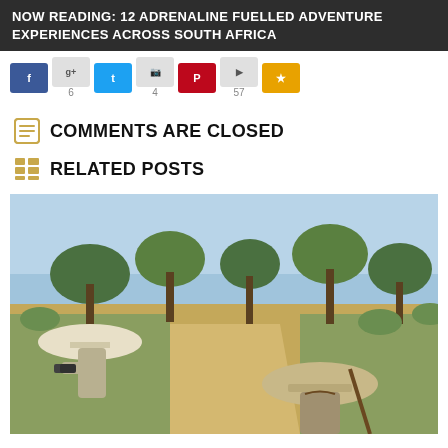NOW READING: 12 ADRENALINE FUELLED ADVENTURE EXPERIENCES ACROSS SOUTH AFRICA
[Figure (other): Social media share buttons row: Facebook (blue), Google+ (grey), Twitter (blue), Pinterest (grey), Pinterest/red, share (grey), bookmark/gold]
COMMENTS ARE CLOSED
RELATED POSTS
[Figure (photo): Outdoor safari scene with two people wearing wide-brimmed hats walking on a dirt path through African bush with trees in background. One person on left holds binoculars. Blue sky visible. Landscape style photo.]